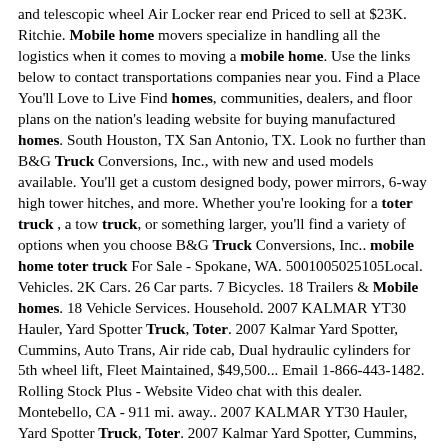and telescopic wheel Air Locker rear end Priced to sell at $23K. Ritchie. Mobile home movers specialize in handling all the logistics when it comes to moving a mobile home. Use the links below to contact transportations companies near you. Find a Place You'll Love to Live Find homes, communities, dealers, and floor plans on the nation's leading website for buying manufactured homes. South Houston, TX San Antonio, TX. Look no further than B&G Truck Conversions, Inc., with new and used models available. You'll get a custom designed body, power mirrors, 6-way high tower hitches, and more. Whether you're looking for a toter truck , a tow truck, or something larger, you'll find a variety of options when you choose B&G Truck Conversions, Inc.. mobile home toter truck For Sale - Spokane, WA. 5001005025105Local. Vehicles. 2K Cars. 26 Car parts. 7 Bicycles. 18 Trailers & Mobile homes. 18 Vehicle Services. Household. 2007 KALMAR YT30 Hauler, Yard Spotter Truck, Toter. 2007 Kalmar Yard Spotter, Cummins, Auto Trans, Air ride cab, Dual hydraulic cylinders for 5th wheel lift, Fleet Maintained, $49,500... Email 1-866-443-1482. Rolling Stock Plus - Website Video chat with this dealer. Montebello, CA - 911 mi. away.. 2007 KALMAR YT30 Hauler, Yard Spotter Truck, Toter. 2007 Kalmar Yard Spotter, Cummins, Auto Trans, Air ride cab, Dual hydraulic cylinders for 5th wheel lift, Fleet Maintained, $49,500... Email 1-866-443-1482. Rolling Stock Plus - Website Video chat with this dealer. Montebello, CA -. Find professional mobile home movers in your local area. Buy /